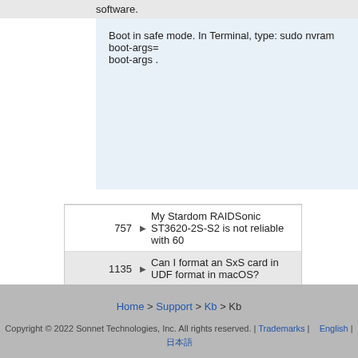software.
Boot in safe mode. In Terminal, type: sudo nvram boot-args= . boot-args .
757 ▶ My Stardom RAIDSonic ST3620-2S-S2 is not reliable with 60...
1135 ▶ Can I format an SxS card in UDF format in macOS?
Home > Support > Kb > Kb | Copyright © 2022 Sonnet Technologies, Inc. All rights reserved. | Trademarks | English | 日本語